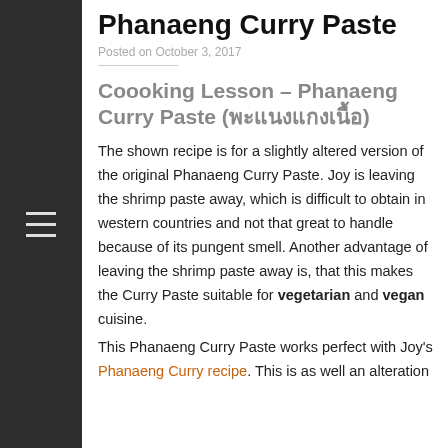Phanaeng Curry Paste
Posted on October 3, 2017
Coooking Lesson – Phanaeng Curry Paste (พะแนงแกงเนื้อ)
The shown recipe is for a slightly altered version of the original Phanaeng Curry Paste. Joy is leaving the shrimp paste away, which is difficult to obtain in western countries and not that great to handle because of its pungent smell. Another advantage of leaving the shrimp paste away is, that this makes the Curry Paste suitable for vegetarian and vegan cuisine.
This Phanaeng Curry Paste works perfect with Joy's Phanaeng Curry recipe. This is as well an alteration